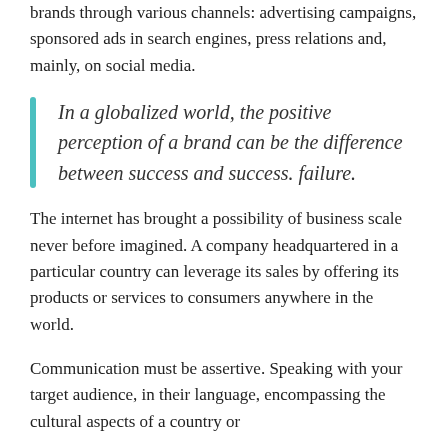brands through various channels: advertising campaigns, sponsored ads in search engines, press relations and, mainly, on social media.
In a globalized world, the positive perception of a brand can be the difference between success and success. failure.
The internet has brought a possibility of business scale never before imagined. A company headquartered in a particular country can leverage its sales by offering its products or services to consumers anywhere in the world.
Communication must be assertive. Speaking with your target audience, in their language, encompassing the cultural aspects of a country or